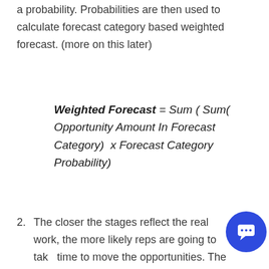a probability. Probabilities are then used to calculate forecast category based weighted forecast. (more on this later)
2. The closer the stages reflect the real work, the more likely reps are going to take time to move the opportunities. The more